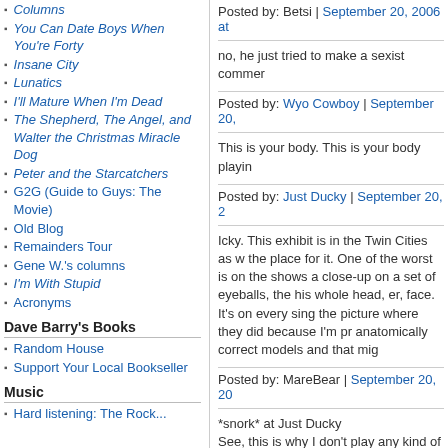Columns
You Can Date Boys When You're Forty
Insane City
Lunatics
I'll Mature When I'm Dead
The Shepherd, The Angel, and Walter the Christmas Miracle Dog
Peter and the Starcatchers
G2G (Guide to Guys: The Movie)
Old Blog
Remainders Tour
Gene W.'s columns
I'm With Stupid
Acronyms
Dave Barry's Books
Random House
Support Your Local Bookseller
Music
Hard listening: The Rock...
Posted by: Betsi | September 20, 2006 at
no, he just tried to make a sexist commer...
Posted by: Wyo Cowboy | September 20,
This is your body. This is your body playin...
Posted by: Just Ducky | September 20, 2...
Icky. This exhibit is in the Twin Cities as w... the place for it. One of the worst is on the... shows a close-up on a set of eyeballs, th... his whole head, er, face. It's on every sin... the picture where they did because I'm p... anatomically correct models and that mig...
Posted by: MareBear | September 20, 20...
*snork* at Just Ducky
See, this is why I don't play any kind of sp... raising my eyebrows.